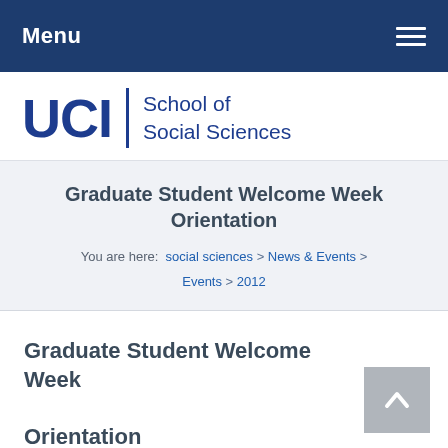Menu
[Figure (logo): UCI School of Social Sciences logo with large UCI text and school name]
Graduate Student Welcome Week Orientation
You are here: social sciences > News & Events > Events > 2012
Graduate Student Welcome Week Orientation
September 24, 2012